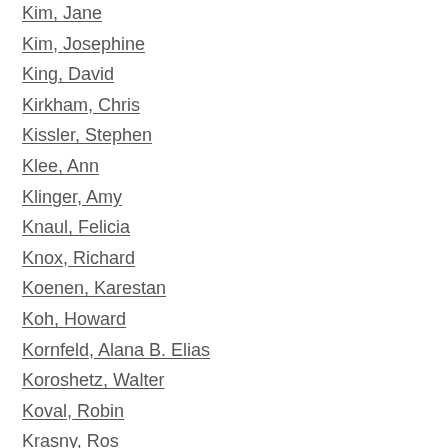Kim, Jane
Kim, Josephine
King, David
Kirkham, Chris
Kissler, Stephen
Klee, Ann
Klinger, Amy
Knaul, Felicia
Knox, Richard
Koenen, Karestan
Koh, Howard
Kornfeld, Alana B. Elias
Koroshetz, Walter
Koval, Robin
Krasny, Ros
Krieger, Nancy
Krieger, Nancy